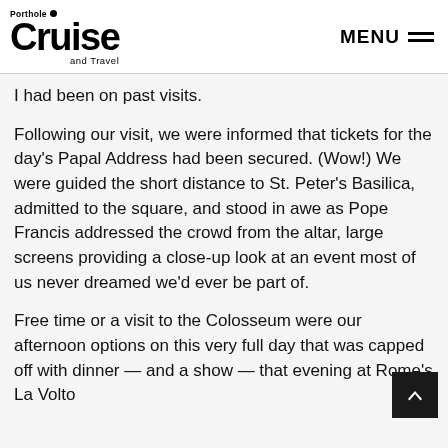Porthole Cruise and Travel | MENU
I had been on past visits.
Following our visit, we were informed that tickets for the day's Papal Address had been secured. (Wow!) We were guided the short distance to St. Peter's Basilica, admitted to the square, and stood in awe as Pope Francis addressed the crowd from the altar, large screens providing a close-up look at an event most of us never dreamed we'd ever be part of.
Free time or a visit to the Colosseum were our afternoon options on this very full day that was capped off with dinner — and a show — that evening at Rome's La Volta